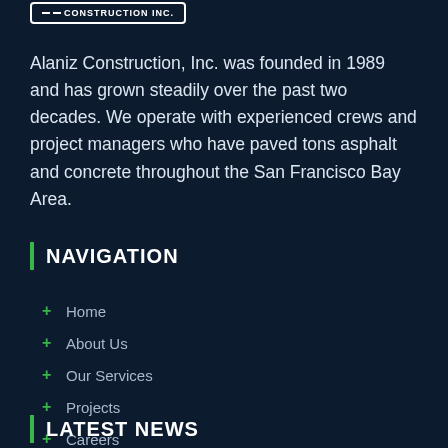[Figure (logo): Alaniz Construction Inc. logo with dashes and border]
Alaniz Construction, Inc. was founded in 1989 and has grown steadily over the past two decades. We operate with experienced crews and project managers who have paved tons asphalt and concrete throughout the San Francisco Bay Area.
NAVIGATION
+ Home
+ About Us
+ Our Services
+ Projects
+ Careers
+ Contact Us
LATEST NEWS